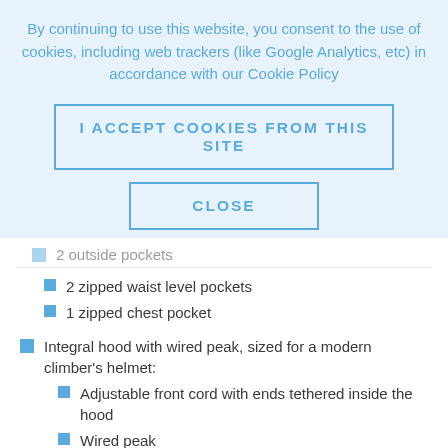By continuing to use this website, you consent to the use of cookies, including web trackers (like Google Analytics, etc) in accordance with our Cookie Policy
I ACCEPT COOKIES FROM THIS SITE
CLOSE
2 zipped waist level pockets
1 zipped chest pocket
Integral hood with wired peak, sized for a modern climber's helmet:
Adjustable front cord with ends tethered inside the hood
Wired peak
Volume reducer on the back of the hood